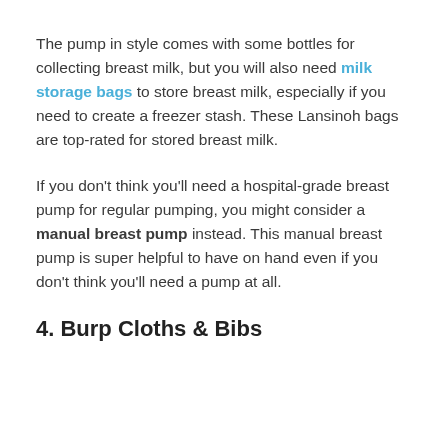The pump in style comes with some bottles for collecting breast milk, but you will also need milk storage bags to store breast milk, especially if you need to create a freezer stash. These Lansinoh bags are top-rated for stored breast milk.
If you don't think you'll need a hospital-grade breast pump for regular pumping, you might consider a manual breast pump instead. This manual breast pump is super helpful to have on hand even if you don't think you'll need a pump at all.
4. Burp Cloths & Bibs